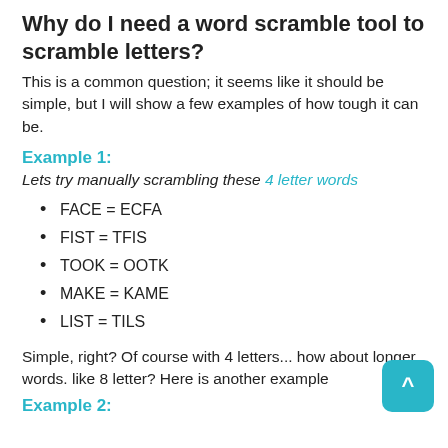Why do I need a word scramble tool to scramble letters?
This is a common question; it seems like it should be simple, but I will show a few examples of how tough it can be.
Example 1:
Lets try manually scrambling these 4 letter words
FACE = ECFA
FIST = TFIS
TOOK = OOTK
MAKE = KAME
LIST = TILS
Simple, right? Of course with 4 letters... how about longer words. like 8 letter? Here is another example
Example 2: